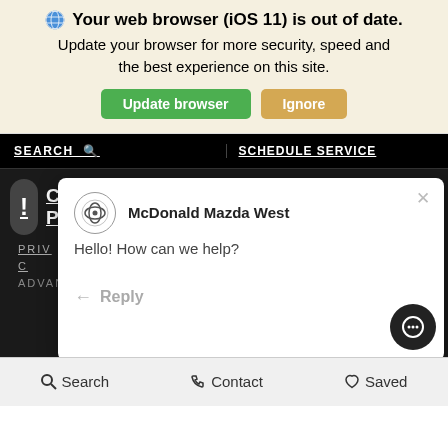Your web browser (iOS 11) is out of date. Update your browser for more security, speed and the best experience on this site.
[Figure (screenshot): Browser update banner with Update browser (green) and Ignore (tan) buttons, followed by a dark website background showing a Mazda dealership page with a chat popup from McDonald Mazda West saying 'Hello! How can we help?' with a Reply option, and a bottom navigation bar with Search, Contact, and Saved links.]